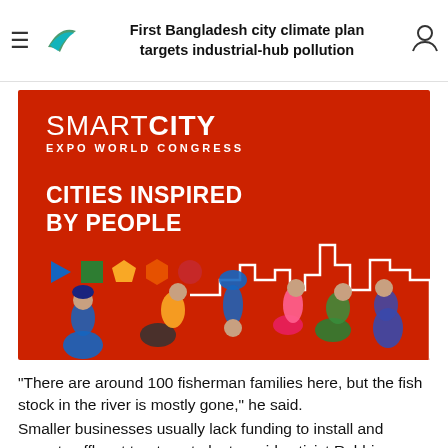First Bangladesh city climate plan targets industrial-hub pollution
[Figure (illustration): Smart City Expo World Congress advertisement on red background with text 'CITIES INSPIRED BY PEOPLE', colorful geometric shape icons (triangle, square, pentagon, hexagon, circle), white city skyline outline, and group of people in various colorful clothes posing against a red wall]
“There are around 100 fisherman families here, but the fish stock in the river is mostly gone,” he said.
Smaller businesses usually lack funding to install and operate effluent treatment plants, said activist Rabbi,